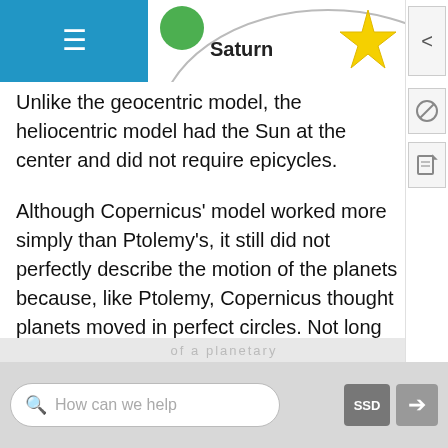[Figure (illustration): Partial view of a heliocentric solar system diagram showing Saturn label with a green planet dot, a circular orbit arc, and a yellow star icon. Blue navigation menu bar on left.]
Unlike the geocentric model, the heliocentric model had the Sun at the center and did not require epicycles.
Although Copernicus' model worked more simply than Ptolemy's, it still did not perfectly describe the motion of the planets because, like Ptolemy, Copernicus thought planets moved in perfect circles. Not long after Copernicus, Johannes Kepler refined the heliocentric model so that the planets moved around the Sun in ellipses (ovals), not circles (Figure below). Kepler's model matched observations perfectly.